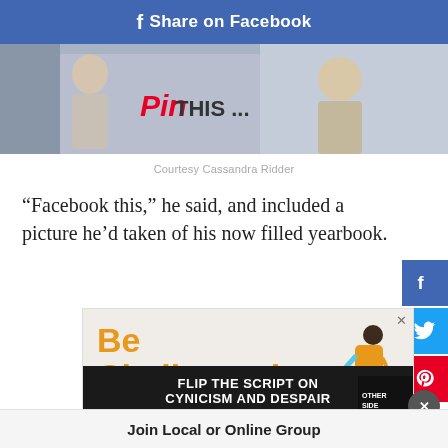f Share on Facebook
[Figure (photo): Cropped photo showing people with a yearbook, with Pinterest 'Pin THIS...' overlay text]
Courtesy Cassandra Ridder
“Facebook this,” he said, and included a picture he’d taken of his now filled yearbook.
[Figure (infographic): Advertisement with orange text 'Be Challenged.' and illustration of adult helping child, overlaid by dark bar reading 'FLIP THE SCRIPT ON CYNICISM AND DESPAIR' with 'LEARN MORE' button and book cover image]
Join Local or Online Group